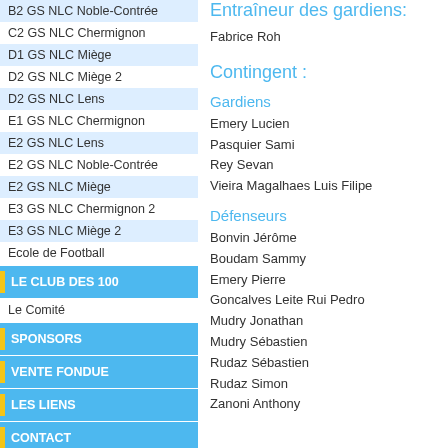B2 GS NLC Noble-Contrée
C2 GS NLC Chermignon
D1 GS NLC Miège
D2 GS NLC Miège 2
D2 GS NLC Lens
E1 GS NLC Chermignon
E2 GS NLC Lens
E2 GS NLC Noble-Contrée
E2 GS NLC Miège
E3 GS NLC Chermignon 2
E3 GS NLC Miège 2
Ecole de Football
LE CLUB DES 100
Le Comité
SPONSORS
VENTE FONDUE
LES LIENS
CONTACT
Entraîneur des gardiens:
Fabrice Roh
Contingent :
Gardiens
Emery Lucien
Pasquier Sami
Rey Sevan
Vieira Magalhaes Luis Filipe
Défenseurs
Bonvin Jérôme
Boudam Sammy
Emery Pierre
Goncalves Leite Rui Pedro
Mudry Jonathan
Mudry Sébastien
Rudaz Sébastien
Rudaz Simon
Zanoni Anthony